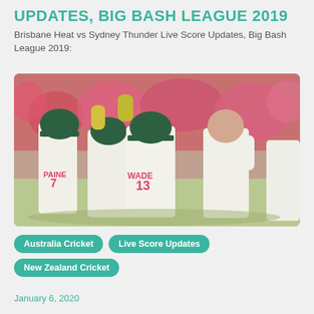UPDATES, BIG BASH LEAGUE 2019
Brisbane Heat vs Sydney Thunder Live Score Updates, Big Bash League 2019:
[Figure (photo): Cricket players in white uniforms celebrating on a cricket field. Players with numbers 7 (PAINE) and 13 (WADE) visible on the back of their jerseys. A bald player on the right appears to be celebrating. Pink-clad crowd visible in the background.]
Australia Cricket
Live Score Updates
New Zealand Cricket
January 6, 2020